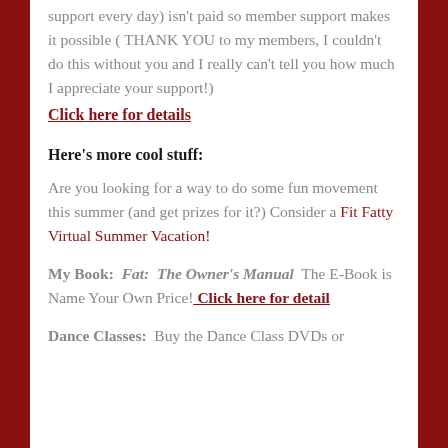support every day) isn't paid so member support makes it possible ( THANK YOU to my members, I couldn't do this without you and I really can't tell you how much I appreciate your support!)
Click here for details
Here's more cool stuff:
Are you looking for a way to do some fun movement this summer (and get prizes for it?) Consider a Fit Fatty Virtual Summer Vacation!
My Book:  Fat: The Owner's Manual  The E-Book is Name Your Own Price! Click here for detail
Dance Classes:  Buy the Dance Class DVDs or